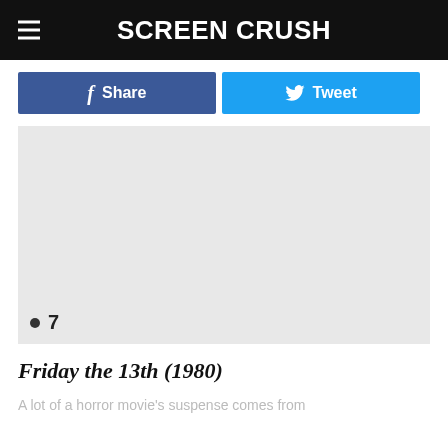Screen Crush
f Share    Tweet
[Figure (other): Gray placeholder image area with bullet point number 7]
7
Friday the 13th (1980)
A lot of a horror movie's suspense comes from